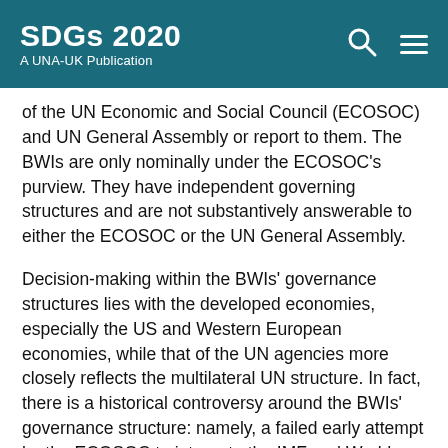SDGs 2020 A UNA-UK Publication
of the UN Economic and Social Council (ECOSOC) and UN General Assembly or report to them. The BWIs are only nominally under the ECOSOC's purview. They have independent governing structures and are not substantively answerable to either the ECOSOC or the UN General Assembly.
Decision-making within the BWIs' governance structures lies with the developed economies, especially the US and Western European economies, while that of the UN agencies more closely reflects the multilateral UN structure. In fact, there is a historical controversy around the BWIs' governance structure: namely, a failed early attempt by the ECOSOC to integrate the IMF and World Bank as specialised UN